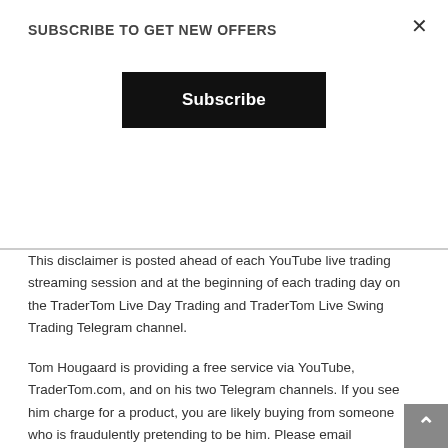SUBSCRIBE TO GET NEW OFFERS
Subscribe
This disclaimer is posted ahead of each YouTube live trading streaming session and at the beginning of each trading day on the TraderTom Live Day Trading and TraderTom Live Swing Trading Telegram channel.
Tom Hougaard is providing a free service via YouTube, TraderTom.com, and on his two Telegram channels. If you see him charge for a product, you are likely buying from someone who is fraudulently pretending to be him. Please email hello@tradertom.com if in doubt.
The training and information provided by Tom Hougaard a his appointed representatives are for educational purposes